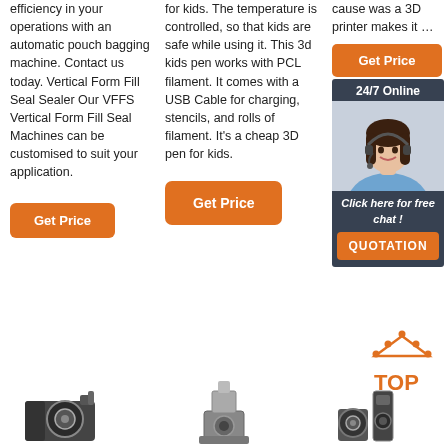efficiency in your operations with an automatic pouch bagging machine. Contact us today. Vertical Form Fill Seal Sealer Our VFFS Vertical Form Fill Seal Machines can be customised to suit your application.
for kids. The temperature is controlled, so that kids are safe while using it. This 3d kids pen works with PCL filament. It comes with a USB Cable for charging, stencils, and rolls of filament. It's a cheap 3D pen for kids.
cause was a 3D printer makes it …
[Figure (other): Orange Get Price button (top right)]
[Figure (other): Sidebar box with 24/7 Online label, photo of woman with headset, Click here for free chat text, and QUOTATION button]
[Figure (other): Orange Get Price button (column 1 bottom)]
[Figure (other): Orange Get Price button (column 2 bottom, larger)]
[Figure (other): TOP icon with orange dots and text]
[Figure (other): Three industrial machine photos at bottom of page]